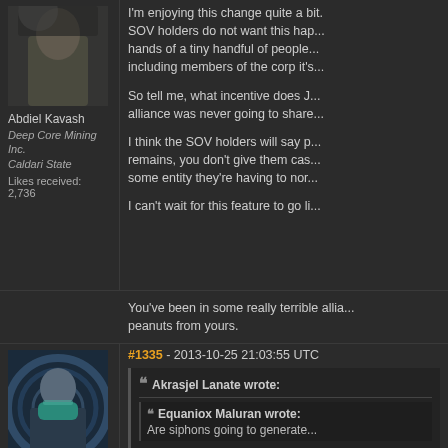[Figure (photo): Avatar of Abdiel Kavash, a sci-fi character with military uniform and smoke effect]
Abdiel Kavash
Deep Core Mining Inc.
Caldari State
Likes received: 2,736
I'm enjoying this change quite a bit. SOV holders do not want this hap... hands of a tiny handful of people... including members of the corp it's...

So tell me, what incentive does J... alliance was never going to share...

I think the SOV holders will say p... remains, you don't give them cas... some entity they're having to nor...

I can't wait for this feature to go li...
You've been in some really terrible allia... peanuts from yours.
#1335 - 2013-10-25 21:03:55 UTC
[Figure (photo): Avatar of a sci-fi character wearing a teal/green mask and dark suit against a blue circular backdrop]
Akrasjel Lanate wrote:
Equaniox Maluran wrote:
Are siphons going to generate...